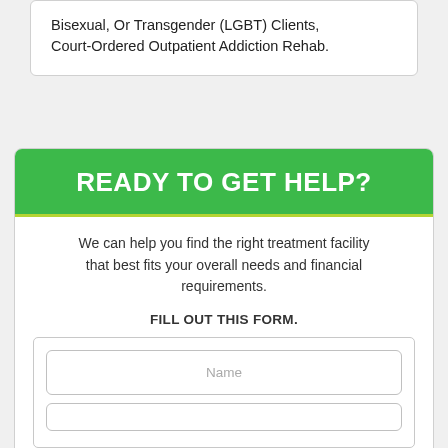Bisexual, Or Transgender (LGBT) Clients, Court-Ordered Outpatient Addiction Rehab.
READY TO GET HELP?
We can help you find the right treatment facility that best fits your overall needs and financial requirements.
FILL OUT THIS FORM.
Name